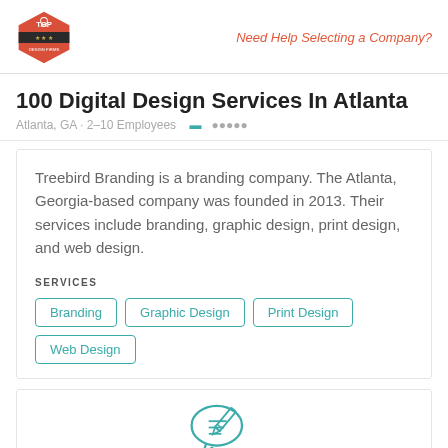Top Design Firms | Need Help Selecting a Company?
100 Digital Design Services In Atlanta
Atlanta, GA · 2-10 Employees
Treebird Branding is a branding company. The Atlanta, Georgia-based company was founded in 2013. Their services include branding, graphic design, print design, and web design.
SERVICES
Branding
Graphic Design
Print Design
Web Design
[Figure (illustration): Chat/review icon — two overlapping speech bubbles with writing lines and a pencil, in teal/cyan outline style]